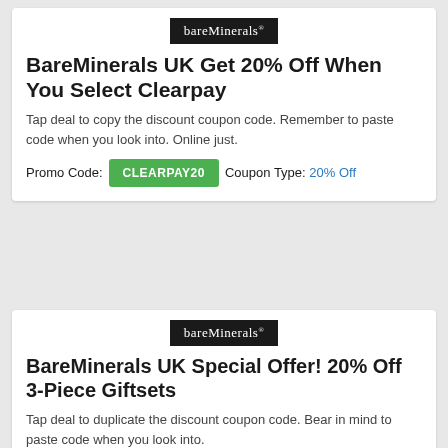[Figure (logo): bareMinerals logo — white text on black background]
BareMinerals UK Get 20% Off When You Select Clearpay
Tap deal to copy the discount coupon code. Remember to paste code when you look into. Online just.
Promo Code: CLEARPAY20  Coupon Type: 20% Off
[Figure (logo): bareMinerals logo — white text on black background]
BareMinerals UK Special Offer! 20% Off 3-Piece Giftsets
Tap deal to duplicate the discount coupon code. Bear in mind to paste code when you look into.